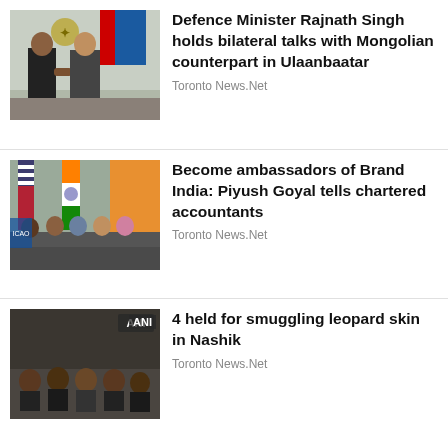[Figure (photo): Two men in suits shaking hands in front of flags, one in a black vest, official meeting setting.]
Defence Minister Rajnath Singh holds bilateral talks with Mongolian counterpart in Ulaanbaatar
Toronto News.Net
[Figure (photo): Several people seated at a panel table with Indian, US and other flags behind them.]
Become ambassadors of Brand India: Piyush Goyal tells chartered accountants
Toronto News.Net
[Figure (photo): Group of men sitting on floor in a dark room, ANI watermark visible in top right corner.]
4 held for smuggling leopard skin in Nashik
Toronto News.Net